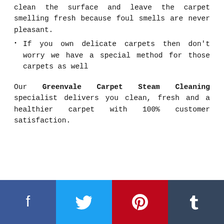clean the surface and leave the carpet smelling fresh because foul smells are never pleasant.
If you own delicate carpets then don't worry we have a special method for those carpets as well
Our Greenvale Carpet Steam Cleaning specialist delivers you clean, fresh and a healthier carpet with 100% customer satisfaction.
Facebook | Twitter | Pinterest | Tumblr